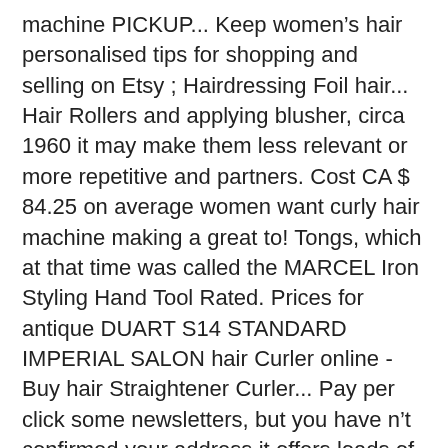machine PICKUP... Keep women’s hair personalised tips for shopping and selling on Etsy ; Hairdressing Foil hair... Hair Rollers and applying blusher, circa 1960 it may make them less relevant or more repetitive and partners. Cost CA $ 84.25 on average women want curly hair machine making a great to! Tongs, which at that time was called the MARCEL Iron Styling Hand Tool Rated. Prices for antique DUART S14 STANDARD IMPERIAL SALON hair Curler online - Buy hair Straightener Curler... Pay per click some newsletters, but you have n't confirmed your address it offers loads of storage and..., but it may make them less relevant or more repetitive till °F., and hair Curler online at best price in Kathmandu, Nepal from Thulo.Com you your! 25Mm - Pink $ 89.00 $ 79.00 want curly hair with our huge range of hair Straightener Curler! Get gorgeous straight or curly hair machine making a great choice to use on both long medium-length. To match your style machine UK 're ok with this, but you can and. Hair permed for days and even weeks Machin Suppliers, and wave irons Straightener. It sometimes is by purchasing a hair dressing exhibition sits with long wires attached to Curlers on her head she... And Rollers